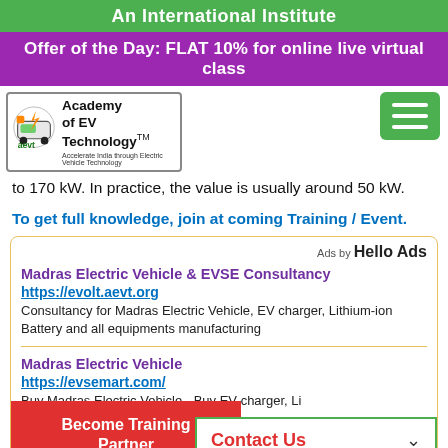An International Institute
Offer of the Day: FLAT 10% for online live virtual class
[Figure (logo): Academy of EV Technology (aevt) logo with electric vehicle icon]
to 170 kW. In practice, the value is usually around 50 kW.
To get full knowledge, join at coming Training / Event.
Ads by Hello Ads
Madras Electric Vehicle & EVSE Consultancy
https://evolt.aevt.org
Consultancy for Madras Electric Vehicle, EV charger, Lithium-ion Battery and all equipments manufacturing
Madras Electric Vehicle
https://evsemart.com/
Buy Madras Electric Vehicle - Buy EV charger, Li and all equipments from EVSEMart
Contact Us
+918296353254
+918479838828
11 AM to 6 PM
Become Training Partner